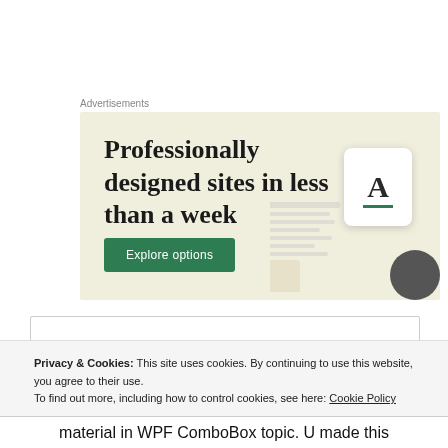Advertisements
[Figure (illustration): Advertisement banner with beige/cream background. Large serif text reads 'Professionally designed sites in less than a week'. Green 'Explore options' button at bottom left. Right side shows decorative website mockup card with letter 'A'.]
Privacy & Cookies: This site uses cookies. By continuing to use this website, you agree to their use.
To find out more, including how to control cookies, see here: Cookie Policy
Close and accept
material in WPF ComboBox topic. U made this